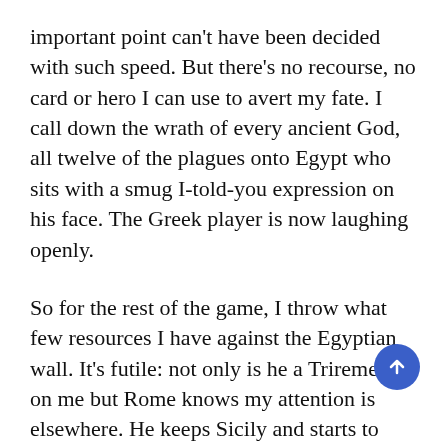important point can't have been decided with such speed. But there's no recourse, no card or hero I can use to avert my fate. I call down the wrath of every ancient God, all twelve of the plagues onto Egypt who sits with a smug I-told-you expression on his face. The Greek player is now laughing openly.
So for the rest of the game, I throw what few resources I have against the Egyptian wall. It's futile: not only is he a Trireme up on me but Rome knows my attention is elsewhere. He keeps Sicily and starts to carve into my territories. And every time I push pieces into Egypt the Greek player starts laughing again. It's infuriating like he's mocking my bad